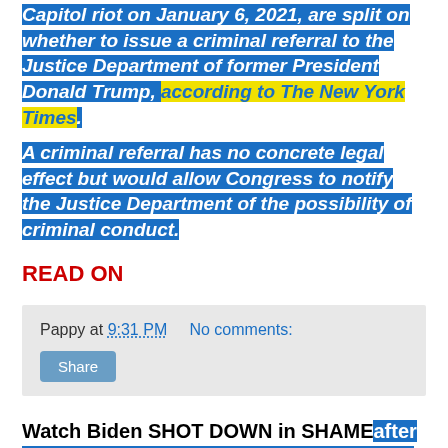Capitol riot on January 6, 2021, are split on whether to issue a criminal referral to the Justice Department of former President Donald Trump, according to The New York Times.
A criminal referral has no concrete legal effect but would allow Congress to notify the Justice Department of the possibility of criminal conduct.
READ ON
Pappy at 9:31 PM   No comments:
Watch Biden SHOT DOWN in SHAME after 'left-wing' media call out Hunter's 'laptop' case 4/10/2022  Takia King